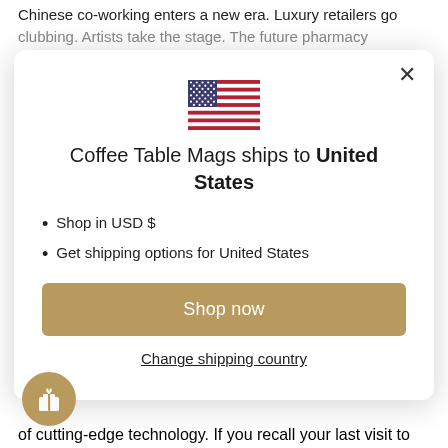Chinese co-working enters a new era. Luxury retailers go clubbing. Artists take the stage. The future pharmacy
[Figure (screenshot): Modal dialog with US flag, shipping destination message, bullet list, shop now button, and change shipping country link]
of cutting-edge technology. If you recall your last visit to